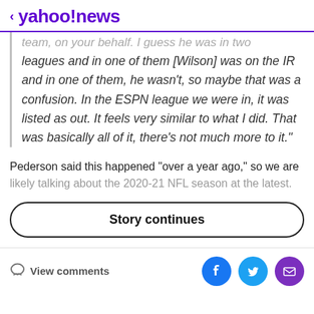< yahoo!news
team, on your behalf. I guess he was in two leagues and in one of them [Wilson] was on the IR and in one of them, he wasn't, so maybe that was a confusion. In the ESPN league we were in, it was listed as out. It feels very similar to what I did. That was basically all of it, there's not much more to it."
Pederson said this happened "over a year ago," so we are likely talking about the 2020-21 NFL season at the latest.
Story continues
View comments